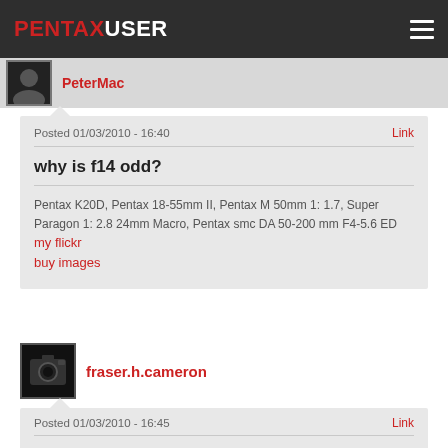PENTAXUSER
PeterMac
Posted 01/03/2010 - 16:40
Link
why is f14 odd?
Pentax K20D, Pentax 18-55mm II, Pentax M 50mm 1: 1.7, Super Paragon 1: 2.8 24mm Macro, Pentax smc DA 50-200 mm F4-5.6 ED
my flickr
buy images
fraser.h.cameron
Posted 01/03/2010 - 16:45
Link
very small aperture, not letting much light through which is not what you want for night photography